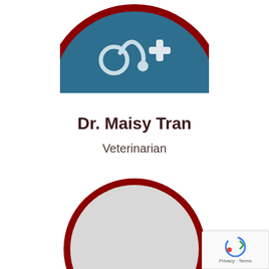[Figure (illustration): Partially visible circular avatar with dark red border, dark teal/blue background with stethoscope and medical cross icons, cropped at top of page]
Dr. Maisy Tran
Veterinarian
[Figure (illustration): Circular placeholder avatar with dark red border and light gray fill, representing a second veterinarian profile photo placeholder]
[Figure (logo): Google reCAPTCHA badge in bottom-right corner showing reCAPTCHA logo with Privacy - Terms text]